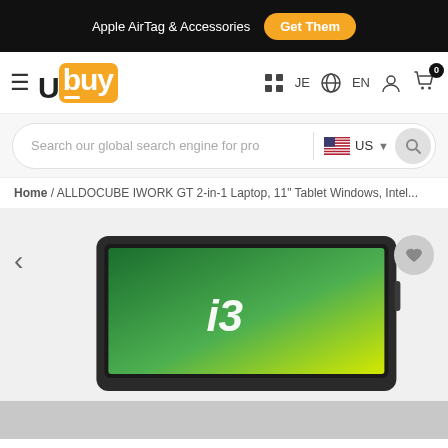Apple AirTag & Accessories  Get Them
[Figure (logo): Ubuy logo with hamburger menu and nav icons (JE, EN globe, user, cart with 0 badge)]
Search our global search engine for pro  US
Home / ALLDOCUBE IWORK GT 2-in-1 Laptop, 11" Tablet Windows, Intel...
[Figure (photo): ALLDOCUBE IWORK GT tablet product image showing front face with i3 label on a green/yellow wallpaper screen, partially cropped at bottom]